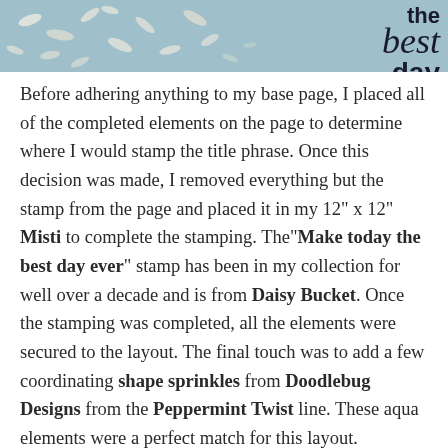[Figure (photo): Top portion of a crafting/scrapbooking layout showing a teal/aqua background with white leaf embellishments and handwritten-style text 'the best day' visible on the right side]
Before adhering anything to my base page, I placed all of the completed elements on the page to determine where I would stamp the title phrase. Once this decision was made, I removed everything but the stamp from the page and placed it in my 12" x 12" Misti to complete the stamping. The"Make today the best day ever" stamp has been in my collection for well over a decade and is from Daisy Bucket. Once the stamping was completed, all the elements were secured to the layout. The final touch was to add a few coordinating shape sprinkles from Doodlebug Designs from the Peppermint Twist line. These aqua elements were a perfect match for this layout.